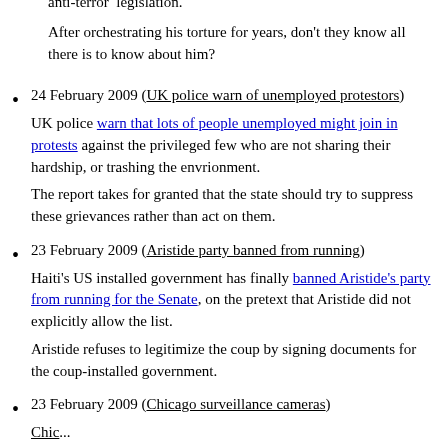anti-terror legislation.
After orchestrating his torture for years, don't they know all there is to know about him?
24 February 2009 (UK police warn of unemployed protestors)
UK police warn that lots of people unemployed might join in protests against the privileged few who are not sharing their hardship, or trashing the envrionment.
The report takes for granted that the state should try to suppress these grievances rather than act on them.
23 February 2009 (Aristide party banned from running)
Haiti's US installed government has finally banned Aristide's party from running for the Senate, on the pretext that Aristide did not explicitly allow the list.
Aristide refuses to legitimize the coup by signing documents for the coup-installed government.
23 February 2009 (Chicago surveillance cameras)
Chic...